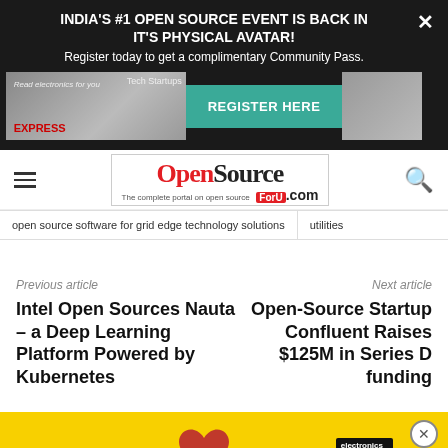INDIA'S #1 OPEN SOURCE EVENT IS BACK IN IT'S PHYSICAL AVATAR!
Register today to get a complimentary Community Pass.
REGISTER HERE
[Figure (logo): OpenSource ForU.com logo with tagline 'The complete portal on open source']
open source software for grid edge technology solutions   utilities
Previous article
Intel Open Sources Nauta – a Deep Learning Platform Powered by Kubernetes
Next article
Open-Source Startup Confluent Raises $125M in Series D funding
[Figure (photo): Yellow advertisement banner with red heart and Express magazine]